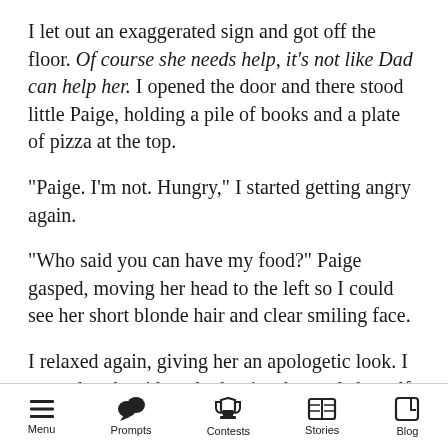I let out an exaggerated sign and got off the floor. Of course she needs help, it’s not like Dad can help her. I opened the door and there stood little Paige, holding a pile of books and a plate of pizza at the top.
“Paige. I’m not. Hungry,” I started getting angry again.
“Who said you can have my food?” Paige gasped, moving her head to the left so I could see her short blonde hair and clear smiling face.
I relaxed again, giving her an apologetic look. I moved to the side to let her in, she made herself at home as usual. She carefully placed the books
Menu  Prompts  Contests  Stories  Blog